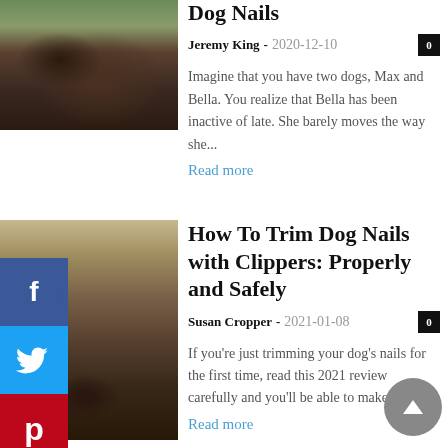[Figure (photo): Close-up photo of dog nails being trimmed with clippers]
Dog Nails
Jeremy King - 2020-12-10
Imagine that you have two dogs, Max and Bella. You realize that Bella has been inactive of late. She barely moves the way she...
Read more
[Figure (photo): Close-up photo of dog paws and nails on a surface]
How To Trim Dog Nails with Clippers: Properly and Safely
Susan Cropper - 2021-01-08
If you're just trimming your dog's nails for the first time, read this 2021 review carefully and you'll be able to make it a...
Read more